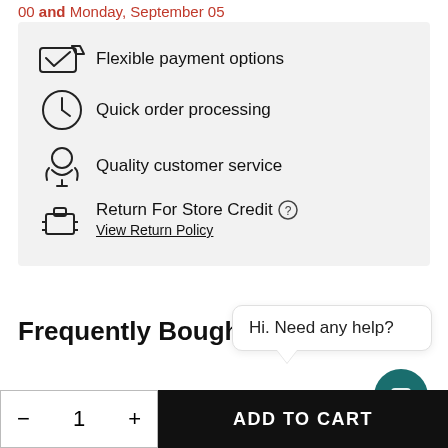00 and Monday, September 05
Flexible payment options
Quick order processing
Quality customer service
Return For Store Credit - View Return Policy
Frequently Bought Together
[Figure (screenshot): Chat widget with bubble saying Hi. Need any help? and teal chat icon]
- 1 + ADD TO CART